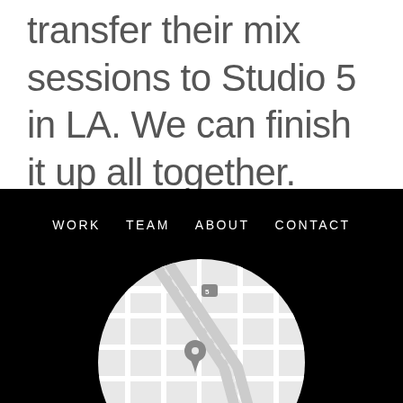transfer their mix sessions to Studio 5 in LA. We can finish it up all together.
WORK  TEAM  ABOUT  CONTACT
[Figure (map): Circular cropped map showing a street map with a location pin marker and Magnolia Blvd label visible]